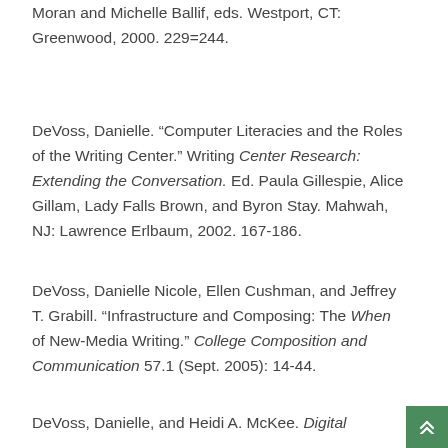Moran and Michelle Ballif, eds. Westport, CT: Greenwood, 2000. 229=244.
DeVoss, Danielle. “Computer Literacies and the Roles of the Writing Center.” Writing Center Research: Extending the Conversation. Ed. Paula Gillespie, Alice Gillam, Lady Falls Brown, and Byron Stay. Mahwah, NJ: Lawrence Erlbaum, 2002. 167-186.
DeVoss, Danielle Nicole, Ellen Cushman, and Jeffrey T. Grabill. “Infrastructure and Composing: The When of New-Media Writing.” College Composition and Communication 57.1 (Sept. 2005): 14-44.
DeVoss, Danielle, and Heidi A. McKee. Digital